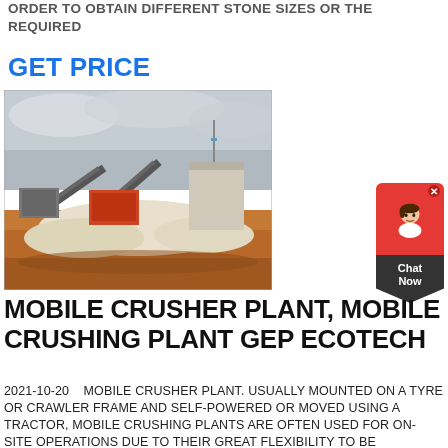ORDER TO OBTAIN DIFFERENT STONE SIZES OR THE REQUIRED
GET PRICE
[Figure (photo): Outdoor photo of a mobile crusher plant facility with conveyor belts, machinery, and a storage building in a sandy/excavated industrial site under overcast sky.]
[Figure (other): Chat Now widget with red circular icon and dark triangular bottom panel showing a customer support avatar.]
MOBILE CRUSHER PLANT, MOBILE CRUSHING PLANT GEP ECOTECH
2021-10-20   MOBILE CRUSHER PLANT. USUALLY MOUNTED ON A TYRE OR CRAWLER FRAME AND SELF-POWERED OR MOVED USING A TRACTOR, MOBILE CRUSHING PLANTS ARE OFTEN USED FOR ON-SITE OPERATIONS DUE TO THEIR GREAT FLEXIBILITY TO BE